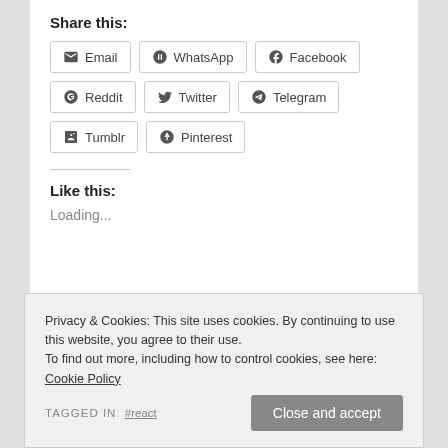Share this:
Email
WhatsApp
Facebook
Reddit
Twitter
Telegram
Tumblr
Pinterest
Like this:
Loading...
Published in — Coding
Computers and IT
TAGGED IN   #react
Privacy & Cookies: This site uses cookies. By continuing to use this website, you agree to their use.
To find out more, including how to control cookies, see here: Cookie Policy
Close and accept